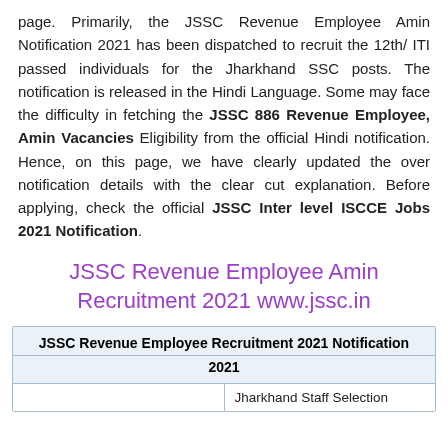page. Primarily, the JSSC Revenue Employee Amin Notification 2021 has been dispatched to recruit the 12th/ ITI passed individuals for the Jharkhand SSC posts. The notification is released in the Hindi Language. Some may face the difficulty in fetching the JSSC 886 Revenue Employee, Amin Vacancies Eligibility from the official Hindi notification. Hence, on this page, we have clearly updated the over notification details with the clear cut explanation. Before applying, check the official JSSC Inter level ISCCE Jobs 2021 Notification.
JSSC Revenue Employee Amin Recruitment 2021 www.jssc.in
| JSSC Revenue Employee Recruitment 2021 Notification | 2021 |
| --- | --- |
|  | Jharkhand Staff Selection |